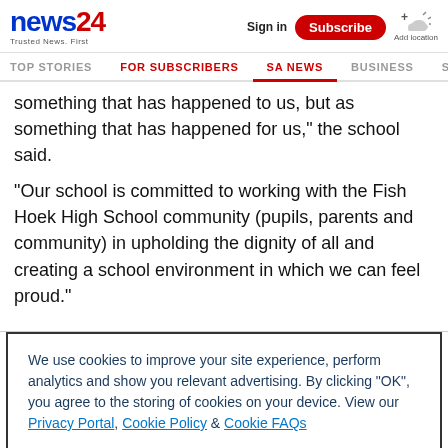news24 - Trusted News. First | Sign in | Subscribe | Add location
TOP STORIES | FOR SUBSCRIBERS | SA NEWS | BUSINESS | SP
something that has happened to us, but as something that has happened for us," the school said.
"Our school is committed to working with the Fish Hoek High School community (pupils, parents and community) in upholding the dignity of all and creating a school environment in which we can feel proud."
We use cookies to improve your site experience, perform analytics and show you relevant advertising. By clicking "OK", you agree to the storing of cookies on your device. View our Privacy Portal, Cookie Policy & Cookie FAQs
OK